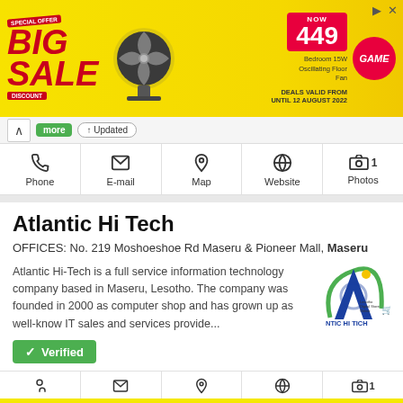[Figure (illustration): Yellow advertisement banner for a BIG SALE on a fan. Price shown: NOW 449. Deals valid from until 12 August 2022. Features a fan image and a 'game' badge.]
Updated
[Figure (infographic): Row of contact icons: Phone, E-mail, Map, Website, Photos (1)]
Atlantic Hi Tech
OFFICES: No. 219 Moshoeshoe Rd Maseru & Pioneer Mall, Maseru
Atlantic Hi-Tech is a full service information technology company based in Maseru, Lesotho. The company was founded in 2000 as computer shop and has grown up as well-know IT sales and services provide...
[Figure (logo): Atlantic Hi Tech company logo showing a blue/green letter A with a globe, with company name 'NTIC HI TICH' and 'Lesotho Digital Store Online' text]
Verified